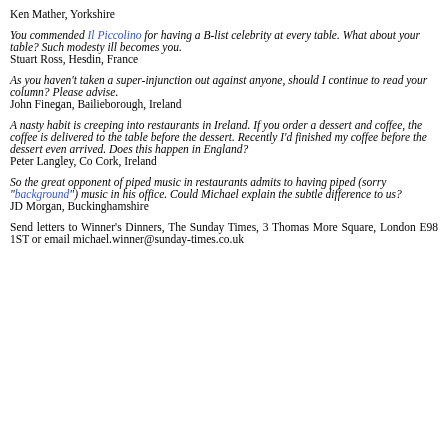Ken Mather, Yorkshire
You commended Il Piccolino for having a B-list celebrity at every table. What about your table? Such modesty ill becomes you.
Stuart Ross, Hesdin, France
As you haven't taken a super-injunction out against anyone, should I continue to read your column? Please advise.
John Finegan, Bailieborough, Ireland
A nasty habit is creeping into restaurants in Ireland. If you order a dessert and coffee, the coffee is delivered to the table before the dessert. Recently I'd finished my coffee before the dessert even arrived. Does this happen in England?
Peter Langley, Co Cork, Ireland
So the great opponent of piped music in restaurants admits to having piped (sorry "background") music in his office. Could Michael explain the subtle difference to us?
JD Morgan, Buckinghamshire
Send letters to Winner's Dinners, The Sunday Times, 3 Thomas More Square, London E98 1ST or email michael.winner@sunday-times.co.uk